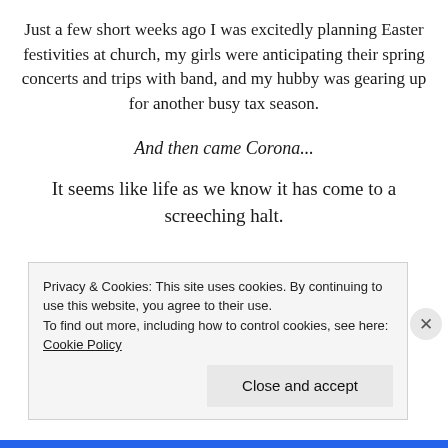Just a few short weeks ago I was excitedly planning Easter festivities at church, my girls were anticipating their spring concerts and trips with band, and my hubby was gearing up for another busy tax season.
And then came Corona...
It seems like life as we know it has come to a screeching halt.
Privacy & Cookies: This site uses cookies. By continuing to use this website, you agree to their use.
To find out more, including how to control cookies, see here:
Cookie Policy
Close and accept